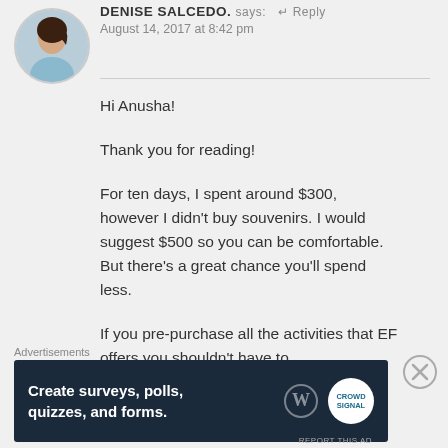[Figure (photo): Circular avatar photo of Denise Salcedo, a young woman with dark hair, smiling, wearing a light blue top]
DENISE SALCEDO. says: Reply
August 14, 2017 at 8:42 pm
Hi Anusha!
Thank you for reading!
For ten days, I spent around $300, however I didn't buy souvenirs. I would suggest $500 so you can be comfortable. But there's a great chance you'll spend less.
If you pre-purchase all the activities that EF offers you shouldn't have to
Advertisements
[Figure (screenshot): Dark navy advertisement banner reading 'Create surveys, polls, quizzes, and forms.' with WordPress and CrowdSignal logos]